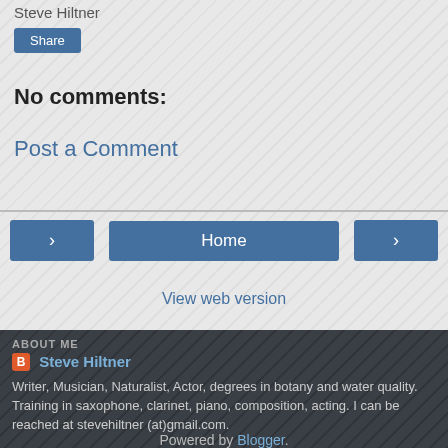Steve Hiltner
Share
No comments:
Post a Comment
< Home >
View web version
ABOUT ME
Steve Hiltner
Writer, Musician, Naturalist, Actor, degrees in botany and water quality. Training in saxophone, clarinet, piano, composition, acting. I can be reached at stevehiltner (at)gmail.com.
View my complete profile
Powered by Blogger.